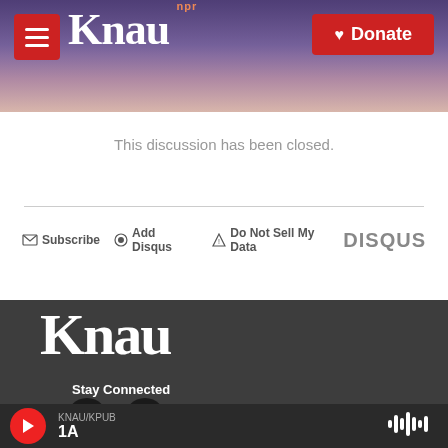[Figure (screenshot): KNAU NPR radio station website header with purple mountain background, hamburger menu button, KNAU logo, and red Donate button]
This discussion has been closed.
Subscribe  Add Disqus  Do Not Sell My Data  DISQUS
[Figure (logo): KNAU logo in white on dark gray footer background]
Stay Connected
[Figure (infographic): Twitter and Facebook social media icons as dark circles]
KNAU/KPUB
1A